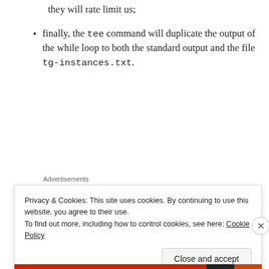they will rate limit us;
finally, the tee command will duplicate the output of the while loop to both the standard output and the file tg-instances.txt.
Advertisements
Privacy & Cookies: This site uses cookies. By continuing to use this website, you agree to their use.
To find out more, including how to control cookies, see here: Cookie Policy
Close and accept